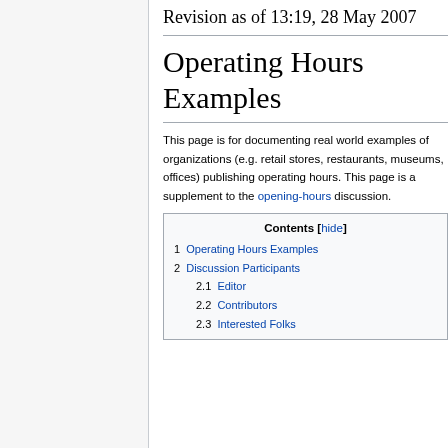Revision as of 13:19, 28 May 2007
Operating Hours Examples
This page is for documenting real world examples of organizations (e.g. retail stores, restaurants, museums, offices) publishing operating hours. This page is a supplement to the opening-hours discussion.
| Contents [hide] |
| --- |
| 1  Operating Hours Examples |
| 2  Discussion Participants |
| 2.1  Editor |
| 2.2  Contributors |
| 2.3  Interested Folks |